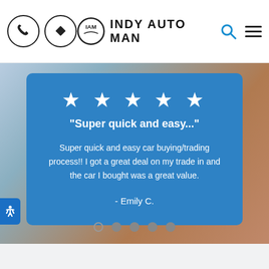INDY AUTO MAN
★★★★★
"Super quick and easy..."
Super quick and easy car buying/trading process!! I got a great deal on my trade in and the car I bought was a great value.
- Emily C.